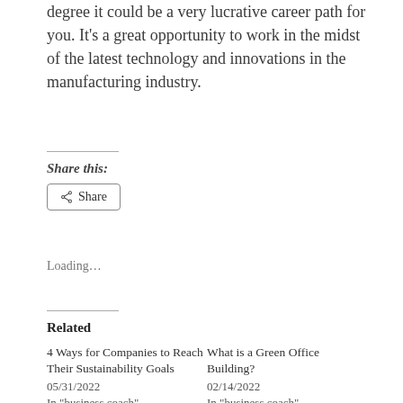degree it could be a very lucrative career path for you. It's a great opportunity to work in the midst of the latest technology and innovations in the manufacturing industry.
Share this:
Share
Loading...
Related
4 Ways for Companies to Reach Their Sustainability Goals
05/31/2022
In "business coach"
What is a Green Office Building?
02/14/2022
In "business coach"